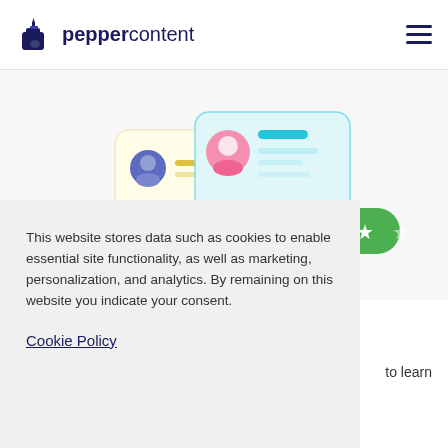peppercontent
[Figure (screenshot): UI illustration showing profile cards with avatars, yellow and teal accent bars, and a green star rating badge]
This website stores data such as cookies to enable essential site functionality, as well as marketing, personalization, and analytics. By remaining on this website you indicate your consent.
Cookie Policy
to learn the market better, and create words that are